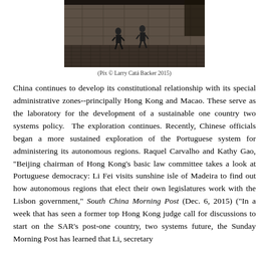[Figure (photo): Photograph of people walking on a cobblestone street with stone walls, taken from above/mid angle. Dark tones. Partially cropped at top.]
(Pix © Larry Catá Backer 2015)
China continues to develop its constitutional relationship with its special administrative zones--principally Hong Kong and Macao. These serve as the laboratory for the development of a sustainable one country two systems policy. The exploration continues. Recently, Chinese officials began a more sustained exploration of the Portuguese system for administering its autonomous regions. Raquel Carvalho and Kathy Gao, "Beijing chairman of Hong Kong's basic law committee takes a look at Portuguese democracy: Li Fei visits sunshine isle of Madeira to find out how autonomous regions that elect their own legislatures work with the Lisbon government," South China Morning Post (Dec. 6, 2015) ("In a week that has seen a former top Hong Kong judge call for discussions to start on the SAR's post-one country, two systems future, the Sunday Morning Post has learned that Li, secretary